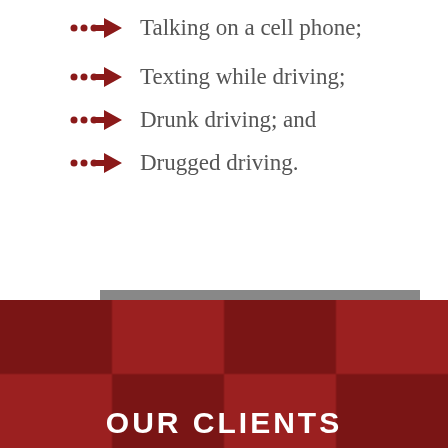Talking on a cell phone;
Texting while driving;
Drunk driving; and
Drugged driving.
Free Case Evaluation
OUR CLIENTS